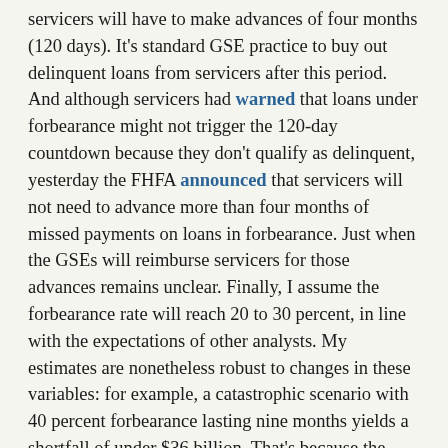servicers will have to make advances of four months (120 days). It's standard GSE practice to buy out delinquent loans from servicers after this period. And although servicers had warned that loans under forbearance might not trigger the 120-day countdown because they don't qualify as delinquent, yesterday the FHFA announced that servicers will not need to advance more than four months of missed payments on loans in forbearance. Just when the GSEs will reimburse servicers for those advances remains unclear. Finally, I assume the forbearance rate will reach 20 to 30 percent, in line with the expectations of other analysts. My estimates are nonetheless robust to changes in these variables: for example, a catastrophic scenario with 40 percent forbearance lasting nine months yields a shortfall of under $36 billion. That's because the main determinants of the shortfall are the number of servicers and loans affected.
Even with these adjustments, my central forecast of $8 billion to $12 billion may be an overestimate of the cash crunch, as the larger nonbanks appear to have enough liquidity to handle accumulating forbearances for a few months. Ginnie's assistance